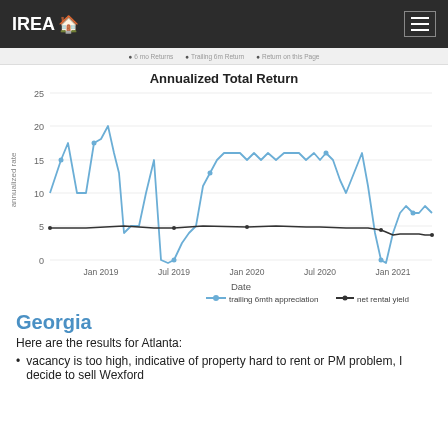IREA
[Figure (line-chart): Annualized Total Return]
Georgia
Here are the results for Atlanta:
vacancy is too high, indicative of property hard to rent or PM problem, I decide to sell Wexford